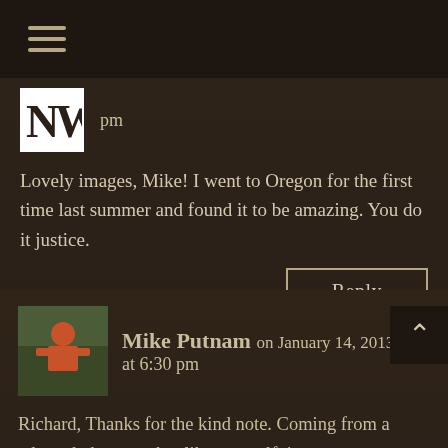≡ (hamburger menu)
pm
Lovely images, Mike! I went to Oregon for the first time last summer and found it to be amazing. You do it justice.
Reply
Mike Putnam on January 14, 2013 at 6:30 pm
Richard, Thanks for the kind note. Coming from a talented photographer like yourself, it means a great deal. If you are ever in Central Oregon, please let me know and i'll give you the inside scoop. Thanks Again,